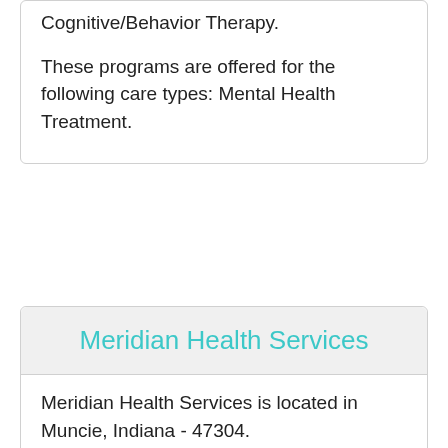Cognitive/Behavior Therapy. These programs are offered for the following care types: Mental Health Treatment.
Meridian Health Services
Meridian Health Services is located in Muncie, Indiana - 47304.
Meridian Health Services allows Cash or Self-Payment, Medicaid Insurance, Medicare for these services: Cognitive/Behavior Therapy, Relapse Prevention. The setting that they offer these services in are: Outpatient Rehabilitation.